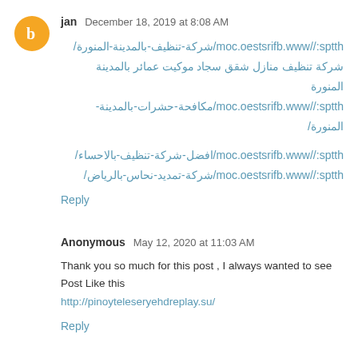jan  December 18, 2019 at 8:08 AM
https://www.bfirstseo.com/شركة-تنظيف-بالمدينة-المنورة/
شركة تنظيف منازل شقق سجاد موكيت عمائر بالمدينة المنورة
https://www.bfirstseo.com/مكافحة-حشرات-بالمدينة-المنورة/
https://www.bfirstseo.com/افضل-شركة-تنظيف-بالاحساء/
https://www.bfirstseo.com/شركة-تمديد-نحاس-بالرياض/
Reply
Anonymous  May 12, 2020 at 11:03 AM
Thank you so much for this post , I always wanted to see Post Like this
http://pinoyteleseryehdreplay.su/
Reply